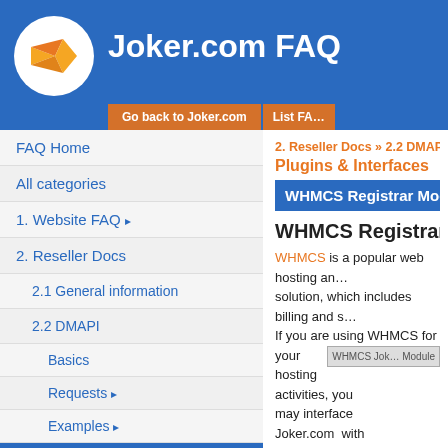Joker.com FAQ
FAQ Home
All categories
1. Website FAQ →
2. Reseller Docs
2.1 General information
2.2 DMAPI
Basics
Requests →
Examples →
Plugins & Interfaces
2.3 Email Gateway →
2.4 WHMCS Web Hosting Automation Platform
2. Reseller Docs » 2.2 DMAPI »
Plugins & Interfaces
WHMCS Registrar Modu…
WHMCS Registrar M…
WHMCS is a popular web hosting and billing solution, which includes billing and s… If you are using WHMCS for your hosting activities, you may interface Joker.com with WHMCS' domain functionality to easily order and manage domains from with…
Joker.com maintains a registrar mod… which offers a great load of, feature…